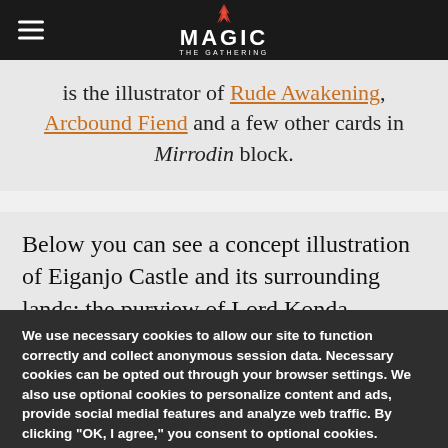Magic: The Gathering
is the illustrator of Rude Awakening, Arcbound Fiend and a few other cards in Mirrodin block.
Below you can see a concept illustration of Eiganjo Castle and its surrounding lands: the purview of Lord Konda.
We use necessary cookies to allow our site to function correctly and collect anonymous session data. Necessary cookies can be opted out through your browser settings. We also use optional cookies to personalize content and ads, provide social medial features and analyze web traffic. By clicking “OK, I agree,” you consent to optional cookies. (Learn more about cookies.)